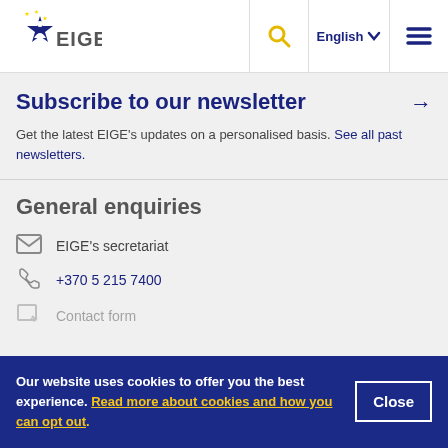EIGE — English (language selector) — Menu
Subscribe to our newsletter
Get the latest EIGE's updates on a personalised basis. See all past newsletters.
General enquiries
EIGE's secretariat
+370 5 215 7400
Contact form
Our website uses cookies to offer you the best experience. Read more about cookies and how you can opt out.